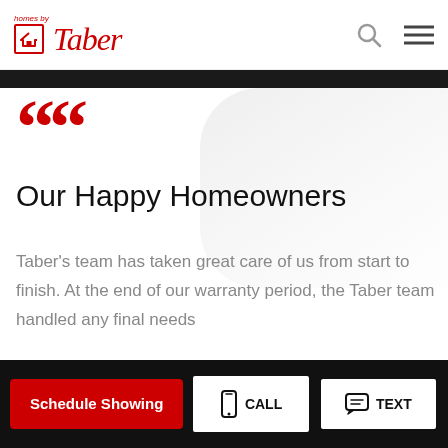homes by Taber
Our Happy Homeowners
Taber's team has taken great care of us from start to finish. At the end of our warranty period, the Taber team handled any final needs
Schedule Showing | CALL | TEXT